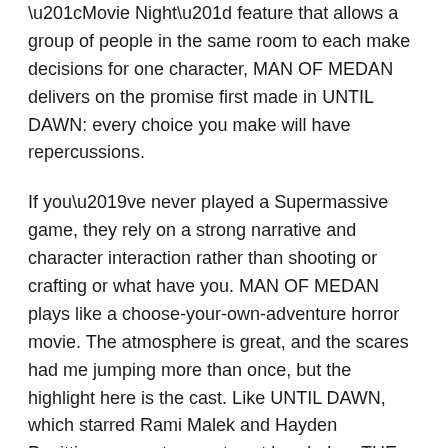“Movie Night” feature that allows a group of people in the same room to each make decisions for one character, MAN OF MEDAN delivers on the promise first made in UNTIL DAWN: every choice you make will have repercussions.
If you’ve never played a Supermassive game, they rely on a strong narrative and character interaction rather than shooting or crafting or what have you. MAN OF MEDAN plays like a choose-your-own-adventure horror movie. The atmosphere is great, and the scares had me jumping more than once, but the highlight here is the cast. Like UNTIL DAWN, which starred Rami Malek and Hayden Panittiere, we get a great cast headed up THE FOLLOWING’s Shawn Ashmore.
Check out the trailer below: